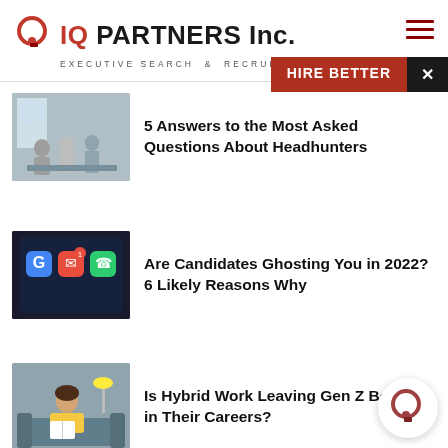[Figure (logo): IQ Partners Inc. logo with circular Q icon in red and bold text, tagline EXECUTIVE SEARCH & RECRUITMENT]
HIRE BETTER
[Figure (photo): Office meeting scene with people sitting around a table]
5 Answers to the Most Asked Questions About Headhunters
[Figure (photo): Close-up of a smartphone screen showing app icons including Google]
Are Candidates Ghosting You in 2022? 6 Likely Reasons Why
[Figure (photo): Young woman sitting on a couch reading a book]
Is Hybrid Work Leaving Gen Z Behind in Their Careers?
[Figure (logo): IQ Partners circular Q logo in dark red, bottom right chat bubble]